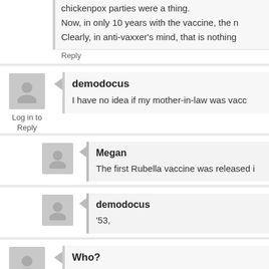chickenpox parties were a thing.
Now, in only 10 years with the vaccine, the n
Clearly, in anti-vaxxer's mind, that is nothing
Reply
demodocus
I have no idea if my mother-in-law was vacc
Log in to Reply
Megan
The first Rubella vaccine was released i
demodocus
'53,
Who?
I had measles, and mumps as a kid. Before
Log in to Reply
Both were entirely miserable